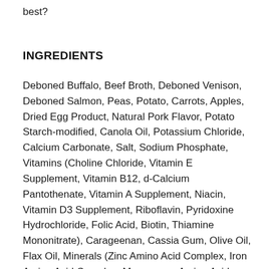best?
INGREDIENTS
Deboned Buffalo, Beef Broth, Deboned Venison, Deboned Salmon, Peas, Potato, Carrots, Apples, Dried Egg Product, Natural Pork Flavor, Potato Starch-modified, Canola Oil, Potassium Chloride, Calcium Carbonate, Salt, Sodium Phosphate, Vitamins (Choline Chloride, Vitamin E Supplement, Vitamin B12, d-Calcium Pantothenate, Vitamin A Supplement, Niacin, Vitamin D3 Supplement, Riboflavin, Pyridoxine Hydrochloride, Folic Acid, Biotin, Thiamine Mononitrate), Carageenan, Cassia Gum, Olive Oil, Flax Oil, Minerals (Zinc Amino Acid Complex, Iron Amino Acid Complex, Manganese Amino Acid Complex, Copper Amino Acid Complex, Potassium Iodide, Cobalt